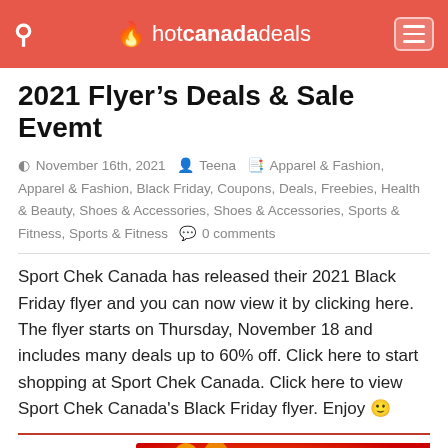hotcanadadeals
2021 Flyer's Deals & Sale Evemt
November 16th, 2021  Teena  Apparel & Fashion, Apparel & Fashion, Black Friday, Coupons, Deals, Freebies, Health & Beauty, Shoes & Accessories, Shoes & Accessories, Sports & Fitness, Sports & Fitness  0 comments
Sport Chek Canada has released their 2021 Black Friday flyer and you can now view it by clicking here. The flyer starts on Thursday, November 18 and includes many deals up to 60% off. Click here to start shopping at Sport Chek Canada. Click here to view Sport Chek Canada's Black Friday flyer. Enjoy 🙂
[Figure (other): Advertisement banner for BitLife game with FAIL text and Start a New Life tagline, overlapping partially with bottom section text]
Spor... ale